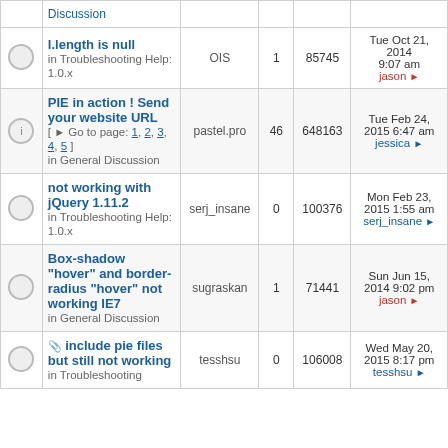|  | Topic | Author | Replies | Views | Last post |
| --- | --- | --- | --- | --- | --- |
|  | l.length is null
in Troubleshooting Help: 1.0.x | OIS | 1 | 85745 | Tue Oct 21, 2014 9:07 am
jason |
|  | PIE in action ! Send your website URL
[ Go to page: 1, 2, 3, 4, 5 ]
in General Discussion | pastel.pro | 46 | 648163 | Tue Feb 24, 2015 6:47 am
jessica |
|  | not working with jQuery 1.11.2
in Troubleshooting Help: 1.0.x | serj_insane | 0 | 100376 | Mon Feb 23, 2015 1:55 am
serj_insane |
|  | Box-shadow "hover" and border-radius "hover" not working IE7
in General Discussion | sugraskan | 1 | 71441 | Sun Jun 15, 2014 9:02 pm
jason |
|  | include pie files but still not working
in Troubleshooting | tesshsu | 0 | 106008 | Wed May 20, 2015 8:17 pm
tesshsu |